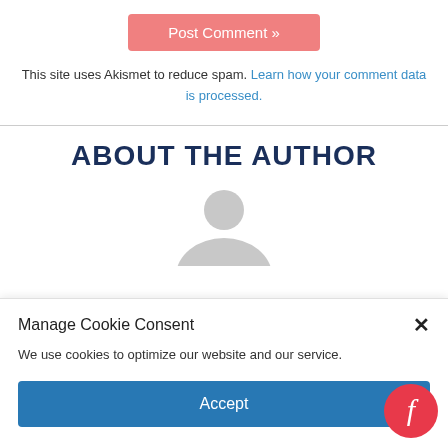[Figure (other): Pink/salmon colored 'Post Comment »' button]
This site uses Akismet to reduce spam. Learn how your comment data is processed.
ABOUT THE AUTHOR
[Figure (other): Gray default user avatar silhouette (top portion visible)]
[Figure (other): Cookie consent modal overlay with title 'Manage Cookie Consent', close X button, body text, Accept button, Cookie Policy and Privacy statement links, and Feedspot logo]
Manage Cookie Consent
We use cookies to optimize our website and our service.
Accept
Cookie Policy   Privacy statement